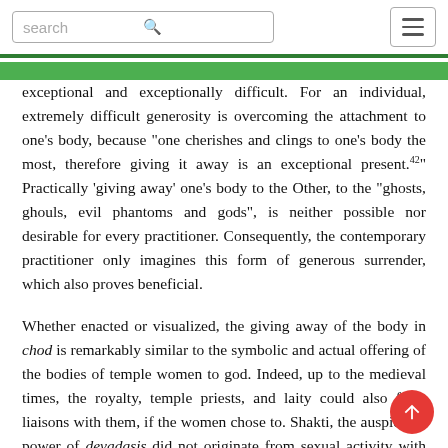search [search icon] [hamburger menu]
exceptional and exceptionally difficult. For an individual, extremely difficult generosity is overcoming the attachment to one's body, because "one cherishes and clings to one's body the most, therefore giving it away is an exceptional present.42" Practically 'giving away' one's body to the Other, to the "ghosts, ghouls, evil phantoms and gods", is neither possible nor desirable for every practitioner. Consequently, the contemporary practitioner only imagines this form of generous surrender, which also proves beneficial.
Whether enacted or visualized, the giving away of the body in chod is remarkably similar to the symbolic and actual offering of the bodies of temple women to god. Indeed, up to the medieval times, the royalty, temple priests, and laity could also form liaisons with them, if the women chose to. Shakti, the auspicious power of devadasis did not originate from sexual activity with multiple beings, but from sexual activity in multiple